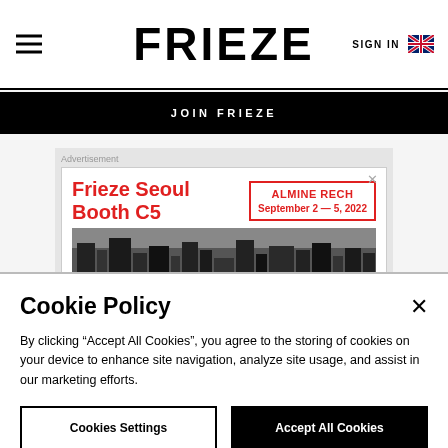FRIEZE | SIGN IN
JOIN FRIEZE
[Figure (infographic): Advertisement banner for Frieze Seoul Booth C5 by Almine Rech, September 2 - 5, 2022, with a cityscape silhouette image below.]
Cookie Policy
By clicking “Accept All Cookies”, you agree to the storing of cookies on your device to enhance site navigation, analyze site usage, and assist in our marketing efforts.
Cookies Settings | Accept All Cookies